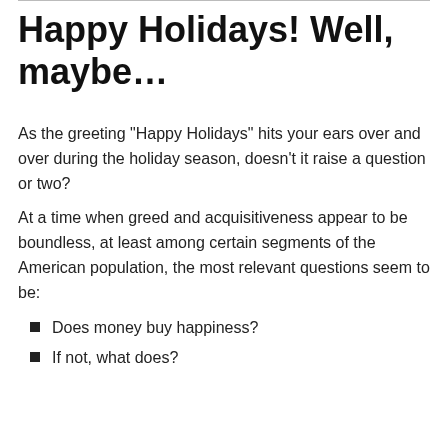Happy Holidays! Well, maybe…
As the greeting “Happy Holidays” hits your ears over and over during the holiday season, doesn’t it raise a question or two?
At a time when greed and acquisitiveness appear to be boundless, at least among certain segments of the American population, the most relevant questions seem to be:
Does money buy happiness?
If not, what does?